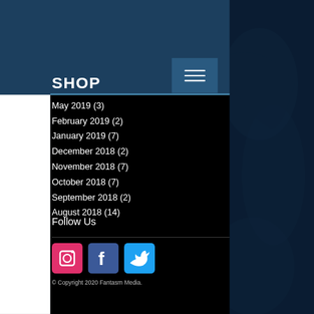SHOP
May 2019 (3)
February 2019 (2)
January 2019 (7)
December 2018 (2)
November 2018 (7)
October 2018 (7)
September 2018 (2)
August 2018 (14)
Follow Us
[Figure (logo): Instagram logo icon - pink/magenta square with camera icon]
[Figure (logo): Facebook logo icon - blue square with F]
[Figure (logo): Twitter logo icon - light blue square with bird]
© Copyright 2020 Fantasm Media.